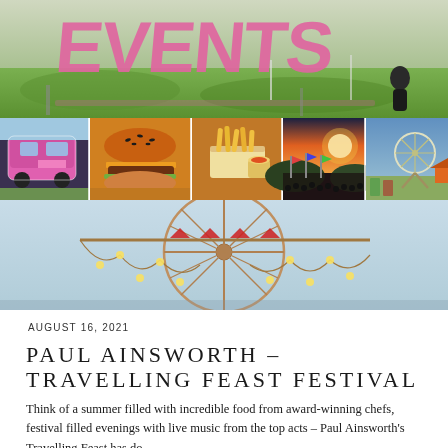[Figure (photo): Top banner: large outdoor festival sign with big pink letters on green grass field, person visible in background]
[Figure (photo): Strip of 5 photos: pink food truck, close-up gourmet burger with sesame bun, french fries with dipping sauce, festival crowd at sunset with colorful flags, outdoor fairground with ferris wheel]
[Figure (photo): Ferris wheel structure with string lights and red triangular flags against a light blue sky]
AUGUST 16, 2021
PAUL AINSWORTH – TRAVELLING FEAST FESTIVAL
Think of a summer filled with incredible food from award-winning chefs, festival filled evenings with live music from the top acts – Paul Ainsworth's Travelling Feast has do...